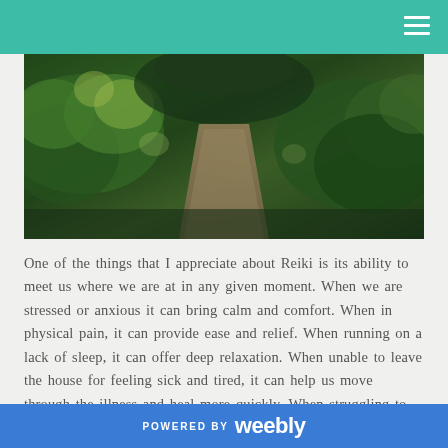[Figure (photo): A winding garden path through lush green foliage and plants, viewed from above, with natural dappled lighting.]
One of the things that I appreciate about Reiki is its ability to meet us where we are at in any given moment. When we are stressed or anxious it can bring calm and comfort. When in physical pain, it can provide ease and relief. When running on a lack of sleep, it can offer deep relaxation. When unable to leave the house for feeling sick and tired, it can help us move through the illness and heal more quickly. When struggling to find a way forward in work, relationships, or projects, it can offer clarity. When feeling alone and unsupported, it can reunite us with connection and hope.
POWERED BY weebly